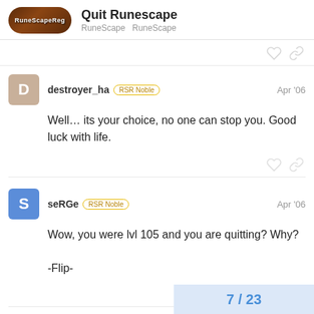Quit Runescape — RuneScape RuneScape
destroyer_ha RSR Noble Apr '06
Well… its your choice, no one can stop you. Good luck with life.
seRGe RSR Noble Apr '06
Wow, you were lvl 105 and you are quitting? Why?
-Flip-
7 / 23